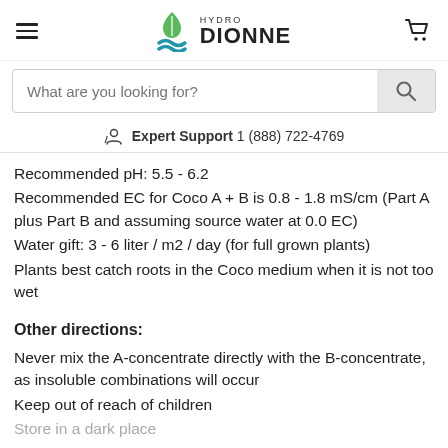HYDRO DIONNE
What are you looking for?
Expert Support  1 (888) 722-4769
Recommended pH: 5.5 - 6.2
Recommended EC for Coco A + B is 0.8 - 1.8 mS/cm (Part A plus Part B and assuming source water at 0.0 EC)
Water gift: 3 - 6 liter / m2 / day (for full grown plants)
Plants best catch roots in the Coco medium when it is not too wet
Other directions:
Never mix the A-concentrate directly with the B-concentrate, as insoluble combinations will occur
Keep out of reach of children
Store in a dark place